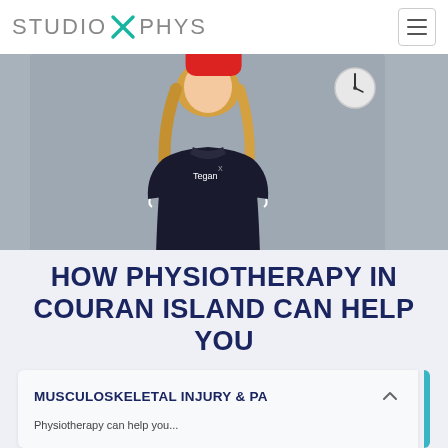[Figure (logo): Studio X Phys logo with teal X graphic between 'STUDIO' and 'PHYS' text]
[Figure (photo): Physiotherapist named Tegan wearing dark polo shirt with Studio X Phys branding, standing in clinic with clock visible on wall behind, red element at top of frame]
HOW PHYSIOTHERAPY IN COURAN ISLAND CAN HELP YOU
MUSCULOSKELETAL INJURY & PA
Physiotherapy can help you...